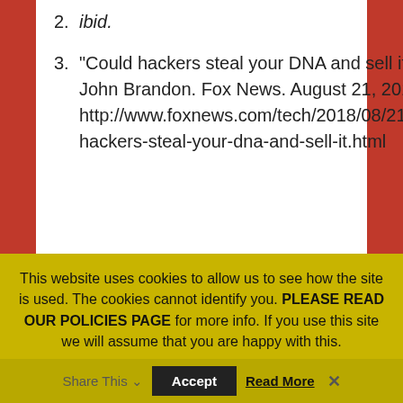2. ibid.
3. “Could hackers steal your DNA and sell it?” By John Brandon. Fox News. August 21, 2018. http://www.foxnews.com/tech/2018/08/21/could-hackers-steal-your-dna-and-sell-it.html
SHARE:
RATE:
This website uses cookies to allow us to see how the site is used. The cookies cannot identify you. PLEASE READ OUR POLICIES PAGE for more info. If you use this site we will assume that you are happy with this.
Share This
Accept
Read More